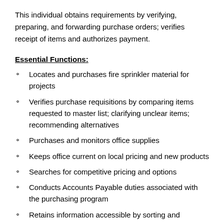This individual obtains requirements by verifying, preparing, and forwarding purchase orders; verifies receipt of items and authorizes payment.
Essential Functions:
Locates and purchases fire sprinkler material for projects
Verifies purchase requisitions by comparing items requested to master list; clarifying unclear items; recommending alternatives
Purchases and monitors office supplies
Keeps office current on local pricing and new products
Searches for competitive pricing and options
Conducts Accounts Payable duties associated with the purchasing program
Retains information accessible by sorting and